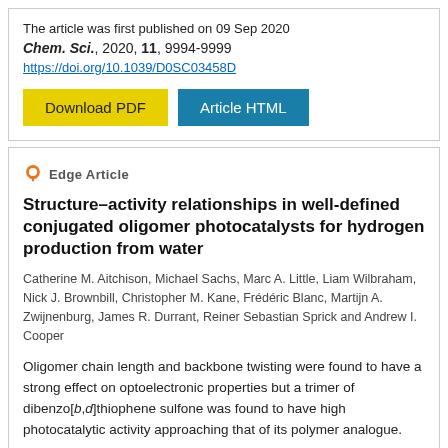The article was first published on 09 Sep 2020
Chem. Sci., 2020, 11, 9994-9999
https://doi.org/10.1039/D0SC03458D
Download PDF
Article HTML
Edge Article
Structure–activity relationships in well-defined conjugated oligomer photocatalysts for hydrogen production from water
Catherine M. Aitchison, Michael Sachs, Marc A. Little, Liam Wilbraham, Nick J. Brownbill, Christopher M. Kane, Frédéric Blanc, Martijn A. Zwijnenburg, James R. Durrant, Reiner Sebastian Sprick and Andrew I. Cooper
Oligomer chain length and backbone twisting were found to have a strong effect on optoelectronic properties but a trimer of dibenzo[b,d]thiophene sulfone was found to have high photocatalytic activity approaching that of its polymer analogue.